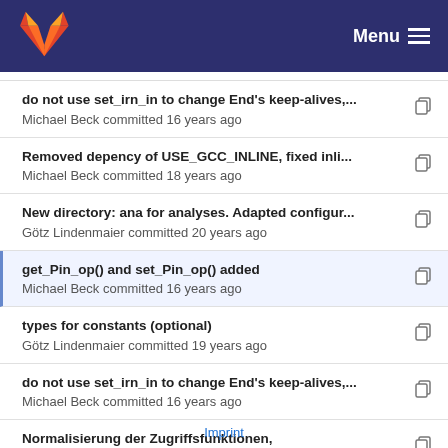GitLab Menu
do not use set_irn_in to change End's keep-alives,...
Michael Beck committed 16 years ago
Removed depency of USE_GCC_INLINE, fixed inli...
Michael Beck committed 18 years ago
New directory: ana for analyses. Adapted configur...
Götz Lindenmaier committed 20 years ago
get_Pin_op() and set_Pin_op() added
Michael Beck committed 16 years ago
types for constants (optional)
Götz Lindenmaier committed 19 years ago
do not use set_irn_in to change End's keep-alives,...
Michael Beck committed 16 years ago
Normalisierung der Zugriffsfunktionen,
Götz Lindenmaier committed 20 years ago
Imprint